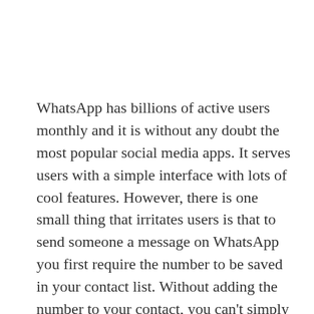WhatsApp has billions of active users monthly and it is without any doubt the most popular social media apps. It serves users with a simple interface with lots of cool features. However, there is one small thing that irritates users is that to send someone a message on WhatsApp you first require the number to be saved in your contact list. Without adding the number to your contact, you can't simply start a conversation with someone. With that being said, is there any workaround for this? Yes, we have got 2 simple workarounds that will enable you to send a message on WhatsApp to someone without